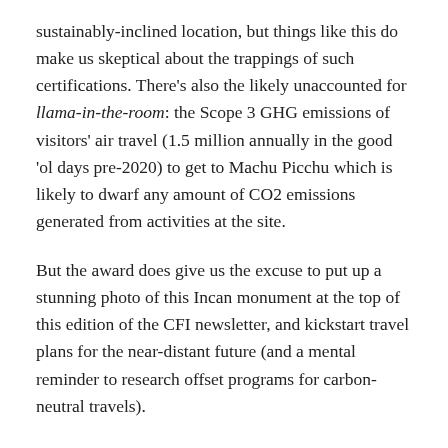sustainably-inclined location, but things like this do make us skeptical about the trappings of such certifications. There's also the likely unaccounted for llama-in-the-room: the Scope 3 GHG emissions of visitors' air travel (1.5 million annually in the good 'ol days pre-2020) to get to Machu Picchu which is likely to dwarf any amount of CO2 emissions generated from activities at the site.
But the award does give us the excuse to put up a stunning photo of this Incan monument at the top of this edition of the CFI newsletter, and kickstart travel plans for the near-distant future (and a mental reminder to research offset programs for carbon-neutral travels).